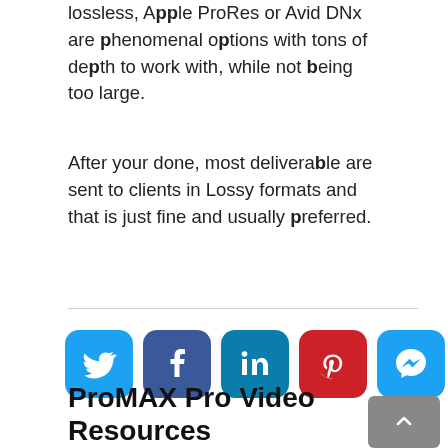lossless, Apple ProRes or Avid DNx are phenomenal options with tons of depth to work with, while not being too large.
After your done, most deliverable are sent to clients in Lossy formats and that is just fine and usually preferred.
[Figure (infographic): Social media share buttons: Twitter (blue), Facebook (dark blue), LinkedIn (teal), Pinterest (red), Messenger (blue), Slack (purple)]
ProMAX Pro Video Resources